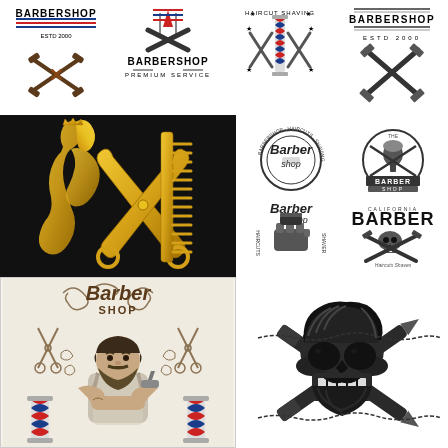[Figure (illustration): Collection of barbershop logos and illustrations arranged in a grid. Top row: four barbershop logos with crossed razors/scissors and text. Middle left: gold scissors, comb and woman silhouette on black background. Middle right: four circular barbershop badges with vintage styling. Bottom left: illustrated barber character with 'Barber Shop' script. Bottom right: skull with crossed razors illustration.]
Barbershop logos and illustrations collection